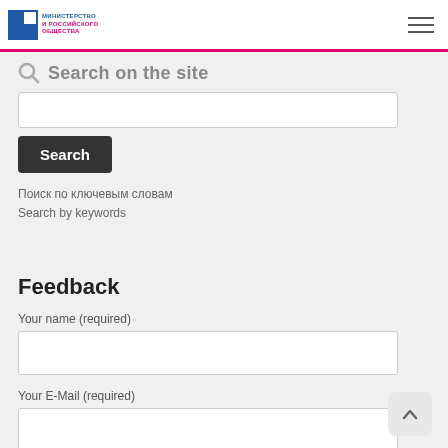Министерство и Российское общество logo with hamburger menu
Search on the site
[Figure (screenshot): Search input field (text box)]
Search
Поиск по ключевым словам
Search by keywords
Feedback
Your name (required)
[Figure (screenshot): Your name input field (text box)]
Your E-Mail (required)
[Figure (screenshot): Your E-Mail input field (text box)]